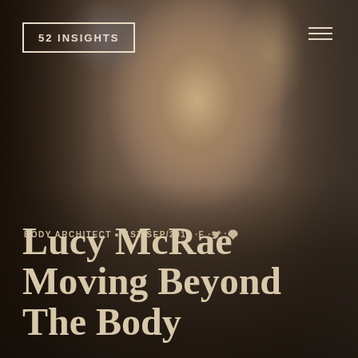[Figure (photo): Close-up portrait photo of a blonde woman with hair pulled up, shot in dark moody tones with warm sepia/brown color grading. The background is blurred and the image has a cinematic feel.]
52 INSIGHTS
BODY ARCHITECT ·1ST/SEP/2016 ·f ·🐦 ·💬
Lucy McRae Moving Beyond The Body